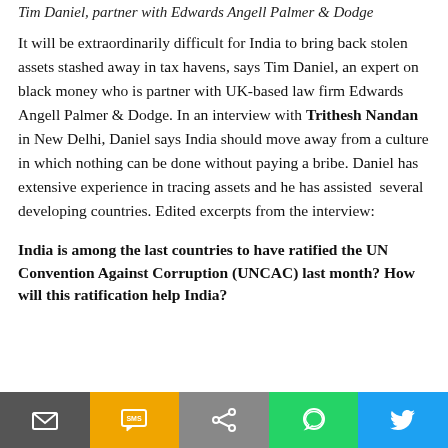Tim Daniel, partner with Edwards Angell Palmer & Dodge
It will be extraordinarily difficult for India to bring back stolen assets stashed away in tax havens, says Tim Daniel, an expert on black money who is partner with UK-based law firm Edwards Angell Palmer & Dodge. In an interview with Trithesh Nandan in New Delhi, Daniel says India should move away from a culture in which nothing can be done without paying a bribe. Daniel has extensive experience in tracing assets and he has assisted several developing countries. Edited excerpts from the interview:
India is among the last countries to have ratified the UN Convention Against Corruption (UNCAC) last month? How will this ratification help India?
[Figure (infographic): Social share bar at bottom with icons for Email, SMS, Share, WhatsApp, and Twitter]